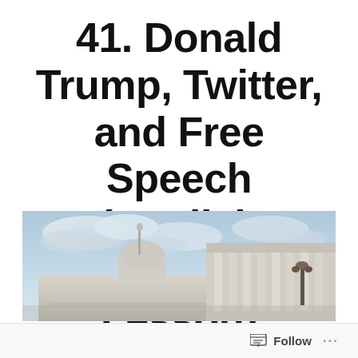41. Donald Trump, Twitter, and Free Speech (English Vocabulary Lesson)
[Figure (photo): Photograph of the United States Capitol building dome and columns against a cloudy sky, viewed from a low angle.]
Follow ···